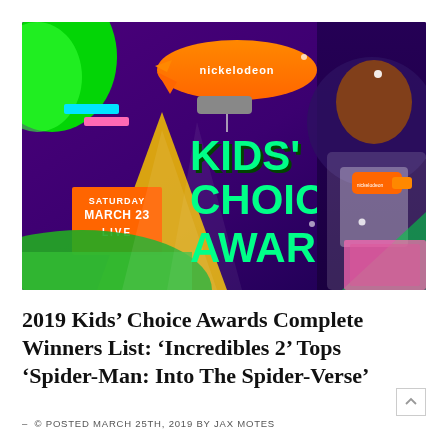[Figure (photo): Nickelodeon Kids' Choice Awards 2019 promotional banner featuring the Kids' Choice Awards logo on a purple background with DJ Khaled holding an orange Nickelodeon blaster, a Nickelodeon blimp, green blob shapes, and text reading 'SATURDAY MARCH 23 LIVE']
2019 Kids’ Choice Awards Complete Winners List: ‘Incredibles 2’ Tops ‘Spider-Man: Into The Spider-Verse’
- © POSTED MARCH 25TH, 2019 BY JAX MOTES